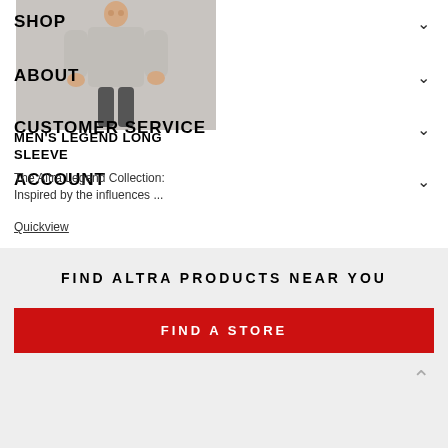[Figure (photo): Man wearing a light grey long sleeve shirt, standing against a light background]
SHOP
ABOUT
CUSTOMER SERVICE
ACCOUNT
MEN'S LEGEND LONG SLEEVE
The Altra Legend Collection: Inspired by the influences ...
Quickview
FIND ALTRA PRODUCTS NEAR YOU
FIND A STORE